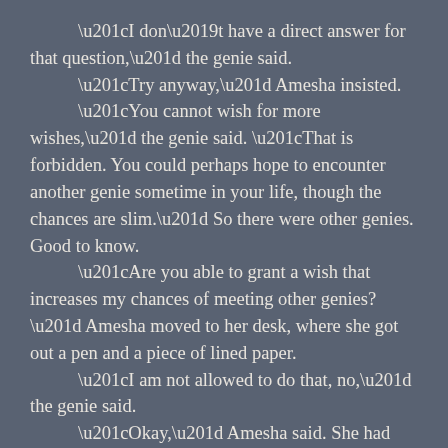“I don’t have a direct answer for that question,” the genie said. “Try anyway,” Amesha insisted. “You cannot wish for more wishes,” the genie said. “That is forbidden. You could perhaps hope to encounter another genie sometime in your life, though the chances are slim.” So there were other genies. Good to know. “Are you able to grant a wish that increases my chances of meeting other genies?” Amesha moved to her desk, where she got out a pen and a piece of lined paper. “I am not allowed to do that, no,” the genie said. “Okay,” Amesha said. She had anticipated that